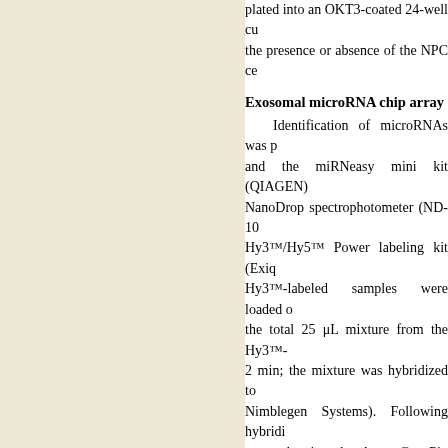plated into an OKT3-coated 24-well cu the presence or absence of the NPC ce
Exosomal microRNA chip array
Identification of microRNAs was p and the miRNeasy mini kit (QIAGEN) NanoDrop spectrophotometer (ND-10 Hy3™/Hy5™ Power labeling kit (Exiq Hy3™-labeled samples were loaded o the total 25 μL mixture from the Hy3™- 2 min; the mixture was hybridized to Nimblegen Systems). Following hybridi scanned using the Axon GenePix 400 (Axon) for grid alignment and data extr were chosen for calculating the nor normalization, the differentially express to define the up-regulation or down-re Gene Expression Omnibus (GEO) unde
Bioinformatics analysis of miRNA
To examine the biological function common target prediction algorithm (D analyze the combinatorial effect of diffe consisted of selective KEGG pathways